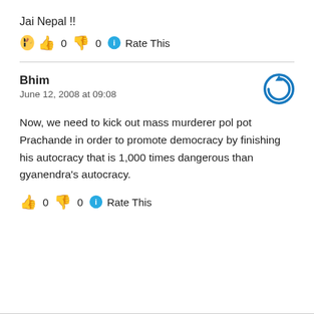Jai Nepal !!
👍 0 👎 0 ℹ Rate This
Bhim
June 12, 2008 at 09:08
Now, we need to kick out mass murderer pol pot Prachande in order to promote democracy by finishing his autocracy that is 1,000 times dangerous than gyanendra's autocracy.
👍 0 👎 0 ℹ Rate This